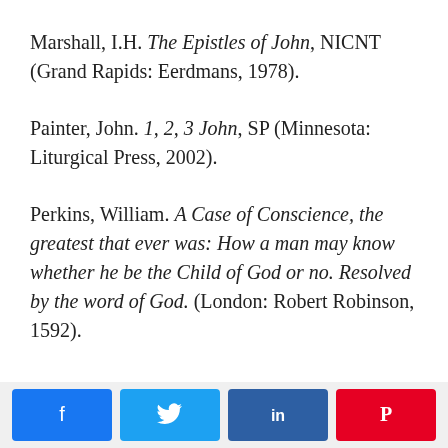Marshall, I.H. The Epistles of John, NICNT (Grand Rapids: Eerdmans, 1978).
Painter, John. 1, 2, 3 John, SP (Minnesota: Liturgical Press, 2002).
Perkins, William. A Case of Conscience, the greatest that ever was: How a man may know whether he be the Child of God or no. Resolved by the word of God. (London: Robert Robinson, 1592).
[Figure (other): Social sharing buttons: Facebook, Twitter, LinkedIn, Pinterest]